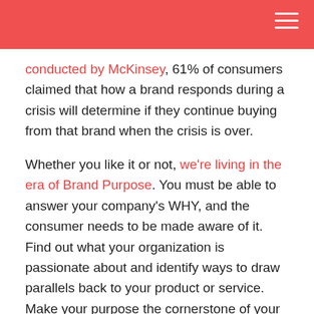conducted by McKinsey, 61% of consumers claimed that how a brand responds during a crisis will determine if they continue buying from that brand when the crisis is over.
Whether you like it or not, we're living in the era of Brand Purpose. You must be able to answer your company's WHY, and the consumer needs to be made aware of it. Find out what your organization is passionate about and identify ways to draw parallels back to your product or service. Make your purpose the cornerstone of your culture and be a role model for your purpose.